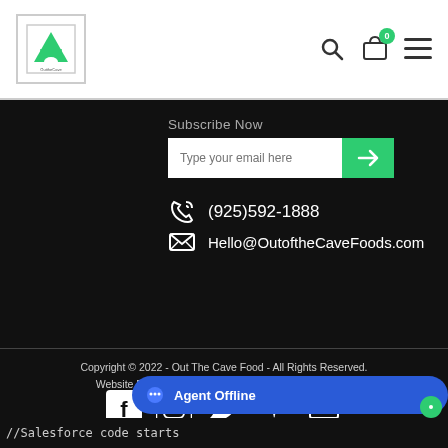[Figure (logo): Out of the Cave Foods logo — green mountain/cave illustration in a square border]
Subscribe Now
Type your email here
(925)592-1888
Hello@OutoftheCaveFoods.com
Copyright © 2022 - Out The Cave Food - All Rights Reserved.
Website Designed and Developed by Happy Meal Prep
[Figure (screenshot): Social media icons: Facebook, Instagram, Twitter, Yelp, and one more icon]
Agent Offline
//Salesforce code starts